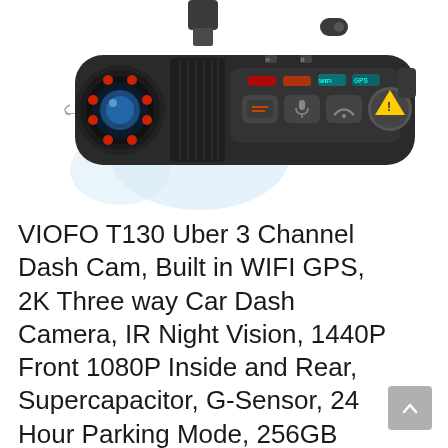[Figure (photo): VIOFO T130 dash cam device shown from above/front angle, black elongated body with camera lens on left side showing red IR LEDs and blue camera element, control panel with red and teal indicator lights, microphone button, WiFi button, and yellow warning triangle button, mounted with bracket on top, light blue background accent]
VIOFO T130 Uber 3 Channel Dash Cam, Built in WIFI GPS, 2K Three way Car Dash Camera, IR Night Vision, 1440P Front 1080P Inside and Rear, Supercapacitor, G-Sensor, 24 Hour Parking Mode, 256GB Supported